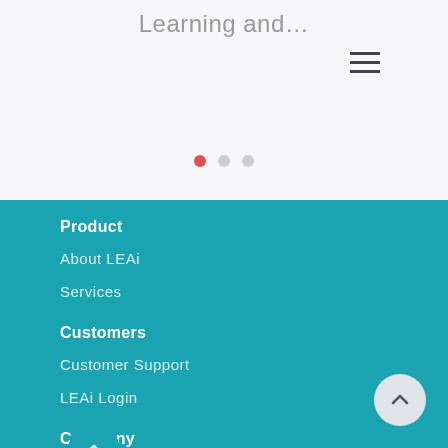Learning and…
[Figure (infographic): Hamburger/menu icon with three horizontal lines]
[Figure (infographic): Carousel dots: one red active dot and two grey inactive dots]
Product
About LEAi
Services
Customers
Customer Support
LEAi Login
Company
About Us
Careers
News
Blog
[Figure (infographic): Back to top button (chevron up in circular gray button, bottom right)]
[Figure (infographic): Partial circular teal button at bottom left, partially cut off]